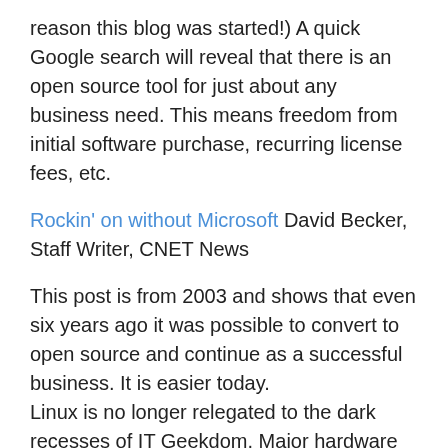reason this blog was started!) A quick Google search will reveal that there is an open source tool for just about any business need. This means freedom from initial software purchase, recurring license fees, etc.
Rockin' on without Microsoft David Becker, Staff Writer, CNET News
This post is from 2003 and shows that even six years ago it was possible to convert to open source and continue as a successful business. It is easier today.
Linux is no longer relegated to the dark recesses of IT Geekdom. Major hardware vendors sell desktops and laptops pre-loaded with various distributions of Linux. A non-technical co-worker recently bought a mini-notebook loaded with